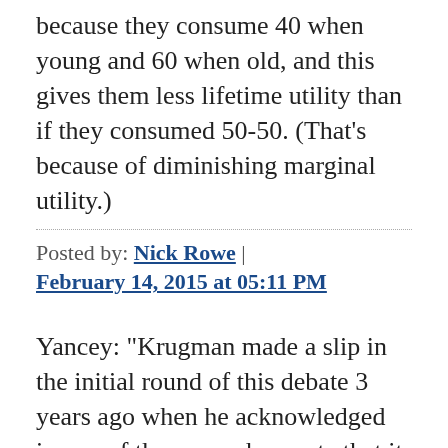because they consume 40 when young and 60 when old, and this gives them less lifetime utility than if they consumed 50-50. (That's because of diminishing marginal utility.)
Posted by: Nick Rowe | February 14, 2015 at 05:11 PM
Yancey: "Krugman made a slip in the initial round of this debate 3 years ago when he acknowledged in one of the essays he wrote that it matters whether or not foreigners are the ones Americans are borrowing from, than the...